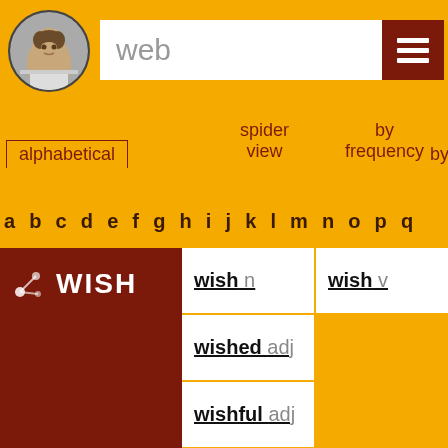web
alphabetical   spider view   by frequency   by
a b c d e f g h i j k l m n o p q
WISH
wish n
wish v
wished adj
wishful adj